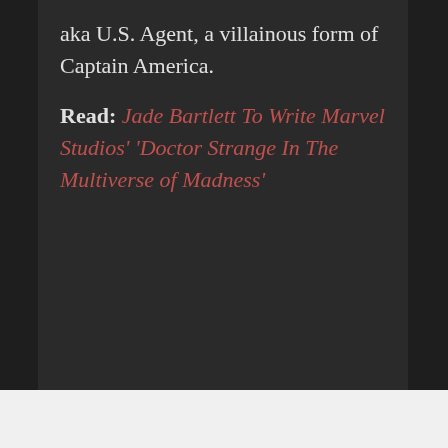aka U.S. Agent, a villainous form of Captain America.
Read: Jade Bartlett To Write Marvel Studios' 'Doctor Strange In The Multiverse of Madness'